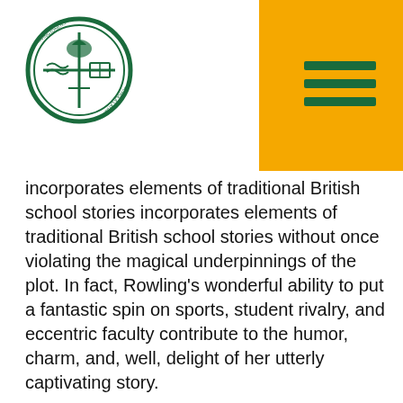[Figure (logo): Covingtonensis Schola Latina circular crest/seal with green border and cross design]
incorporates elements of traditional British school stories without once violating the magical underpinnings of the plot. In fact, Rowling's wonderful ability to put a fantastic spin on sports, student rivalry, and eccentric faculty contribute to the humor, charm, and, well, delight of her utterly captivating story.
Why we love it:
Harry wasn't understood by his family and was always depressed until he found out that he was indeed special and had gifts that no one else had.  He then had the opportunity to attend a school that valued his gifts and he could live up to his potential.  You can also see Harry develop his powers through hard work.  Talent development isn't always easy.
Matilda